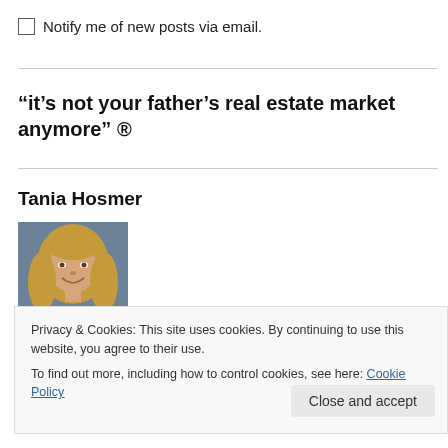Notify me of new posts via email.
“it’s not your father’s real estate market anymore” ®
Tania Hosmer
[Figure (photo): Headshot photo of Tania Hosmer, a woman with blonde hair, smiling, against a blue-gray background]
Privacy & Cookies: This site uses cookies. By continuing to use this website, you agree to their use.
To find out more, including how to control cookies, see here: Cookie Policy